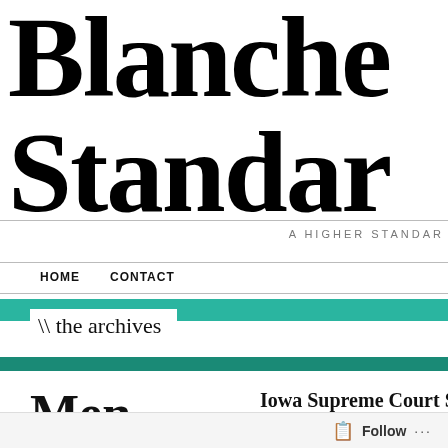Blanche Standard
A HIGHER STANDARD
HOME   CONTACT
\\ the archives
Men
This tag is associated with 13 posts
Iowa Supreme Court Say For Being 'Irresistible'
POSTED BY LADYKBRANDT · DECEMBER 26, 2
via Ryan J. Foley, Chicago Sun-Tim that he found attractive simply beca their marriage, the all-male Iowa S
Follow ...